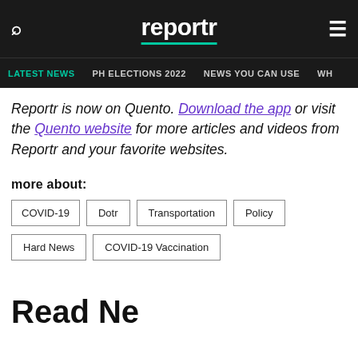reportr
LATEST NEWS  PH ELECTIONS 2022  NEWS YOU CAN USE  WH
Reportr is now on Quento. Download the app or visit the Quento website for more articles and videos from Reportr and your favorite websites.
more about:
COVID-19
Dotr
Transportation
Policy
Hard News
COVID-19 Vaccination
Read Ne…